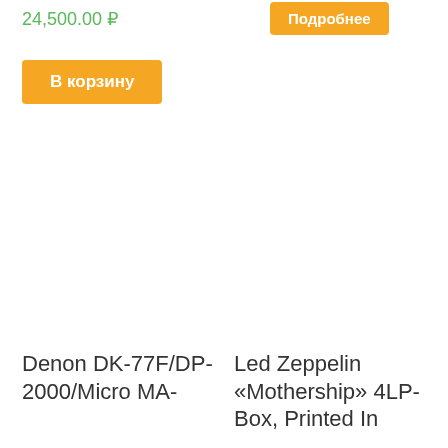24,500.00 ₽
Подробнее
В корзину
Denon DK-77F/DP-2000/Micro MA-
Led Zeppelin «Mothership» 4LP-Box, Printed In